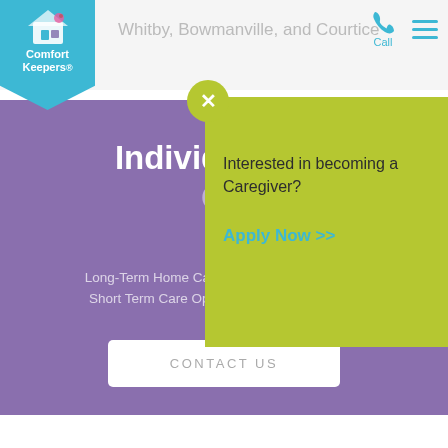[Figure (logo): Comfort Keepers logo on teal blue background with house/people icon]
Whitby, Bowmanville, and Courtice
Call
Individualized Op
Long-Term Home Care, 24 Hour Home Care & Short Term Care Options Customized for You
CONTACT US
Interested in becoming a Caregiver?
Apply Now >>